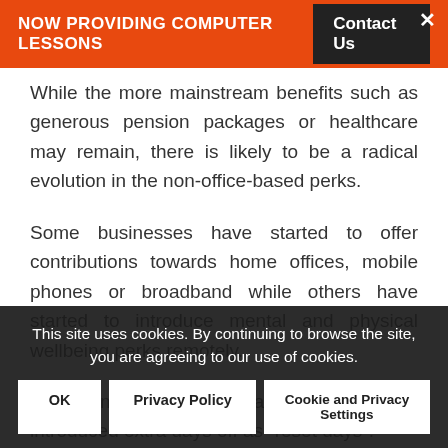NOW PROVIDING COMPUTER LESSONS  Contact Us
While the more mainstream benefits such as generous pension packages or healthcare may remain, there is likely to be a radical evolution in the non-office-based perks.
Some businesses have started to offer contributions towards home offices, mobile phones or broadband while others have started to introduce mental and physical wellbeing perks remotely.
Some, including Google and Revolut, have introduced extra days off as “reset days”.
They are recognising that it is a lot harder for people in the business to switch off when they’re working from home, because they can’t or disconnect.
This site uses cookies. By continuing to browse the site, you are agreeing to our use of cookies.